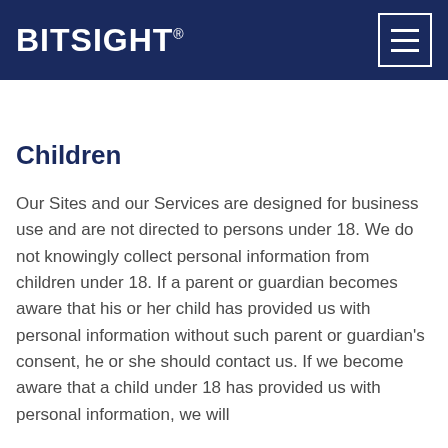BITSIGHT
Children
Our Sites and our Services are designed for business use and are not directed to persons under 18. We do not knowingly collect personal information from children under 18. If a parent or guardian becomes aware that his or her child has provided us with personal information without such parent or guardian's consent, he or she should contact us. If we become aware that a child under 18 has provided us with personal information, we will